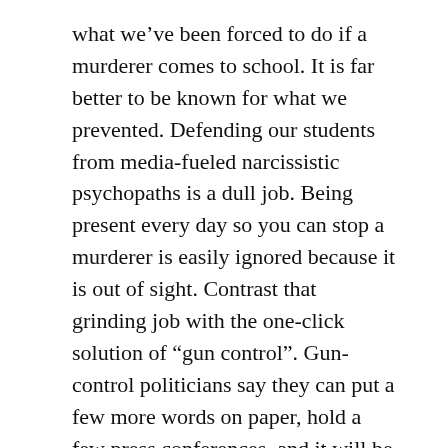what we've been forced to do if a murderer comes to school. It is far better to be known for what we prevented. Defending our students from media-fueled narcissistic psychopaths is a dull job. Being present every day so you can stop a murderer is easily ignored because it is out of sight. Contrast that grinding job with the one-click solution of “gun control”. Gun-control politicians say they can put a few more words on paper, hold a few press conferences, and it will be as if evil simply went away.. or did it? We’re conducting several large-scale social experiments at the same time. Our children’s lives depend on what we do.
Each day brings us something new. Our